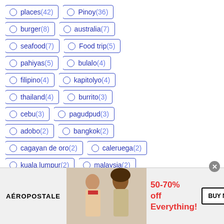places (42)
Pinoy (36)
burger (8)
australia (7)
seafood (7)
Food trip (5)
pahiyas (5)
bulalo (4)
filipino (4)
kapitolyo (4)
thailand (4)
burrito (3)
cebu (3)
pagudpud (3)
adobo (2)
bangkok (2)
cagayan de oro (2)
caleruega (2)
kuala lumpur (2)
malaysia (2)
[Figure (photo): Advertisement banner for Aéropostale featuring two female models and '50-70% off Everything!' text with a BUY NOW button]